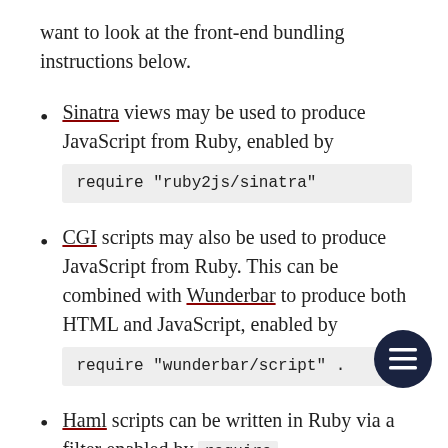want to look at the front-end bundling instructions below.
Sinatra views may be used to produce JavaScript from Ruby, enabled by require "ruby2js/sinatra"
CGI scripts may also be used to produce JavaScript from Ruby. This can be combined with Wunderbar to produce both HTML and JavaScript, enabled by require "wunderbar/script" .
Haml scripts can be written in Ruby via a filter enabled by require "ruby2js/haml"